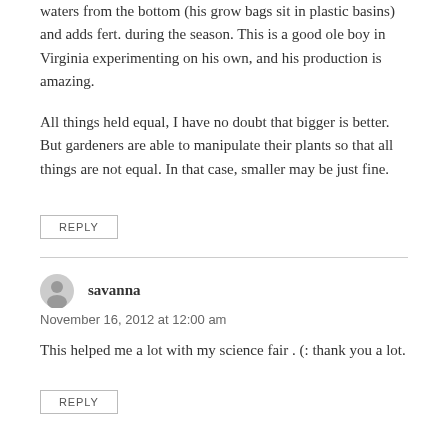waters from the bottom (his grow bags sit in plastic basins) and adds fert. during the season. This is a good ole boy in Virginia experimenting on his own, and his production is amazing.
All things held equal, I have no doubt that bigger is better. But gardeners are able to manipulate their plants so that all things are not equal. In that case, smaller may be just fine.
REPLY
savanna
November 16, 2012 at 12:00 am
This helped me a lot with my science fair . (: thank you a lot.
REPLY